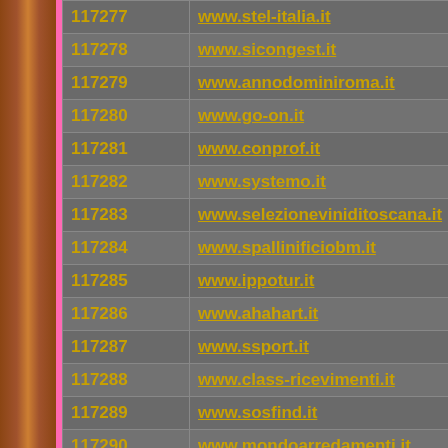| ID | URL |
| --- | --- |
| 117277 | www.stel-italia.it |
| 117278 | www.sicongest.it |
| 117279 | www.annodominiroma.it |
| 117280 | www.go-on.it |
| 117281 | www.conprof.it |
| 117282 | www.systemo.it |
| 117283 | www.selezioneviniditoscana.it |
| 117284 | www.spallinificiobm.it |
| 117285 | www.ippotur.it |
| 117286 | www.ahahart.it |
| 117287 | www.ssport.it |
| 117288 | www.class-ricevimenti.it |
| 117289 | www.sosfind.it |
| 117290 | www.mondoarredamenti.it |
| 117291 | www.finbau.it |